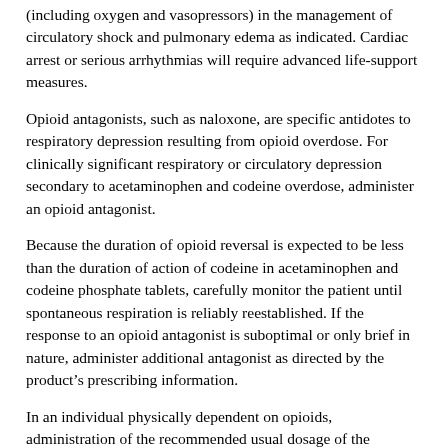(including oxygen and vasopressors) in the management of circulatory shock and pulmonary edema as indicated. Cardiac arrest or serious arrhythmias will require advanced life-support measures.
Opioid antagonists, such as naloxone, are specific antidotes to respiratory depression resulting from opioid overdose. For clinically significant respiratory or circulatory depression secondary to acetaminophen and codeine overdose, administer an opioid antagonist.
Because the duration of opioid reversal is expected to be less than the duration of action of codeine in acetaminophen and codeine phosphate tablets, carefully monitor the patient until spontaneous respiration is reliably reestablished. If the response to an opioid antagonist is suboptimal or only brief in nature, administer additional antagonist as directed by the product’s prescribing information.
In an individual physically dependent on opioids, administration of the recommended usual dosage of the antagonist will precipitate an acute withdrawal syndrome. The severity of the withdrawal symptoms experienced will depend on the degree of physical dependence and the dose of the antagonist administered. If a decision is made to treat serious respiratory depression in the physically dependent patient, administration of the antagonist should be begun with care and by titration with